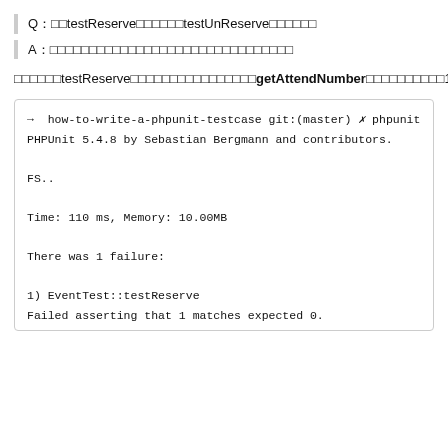Q：□□testReserve□□□□□□testUnReserve□□□□□□
A：□□□□□□□□□□□□□□□□□□□□□□□□□□□□□□□
□□□□□□testReserve□□□□□□□□□□□□□□□□getAttendNumber□□□□□□□□□□1□□0□□□□testReserve□□□□□□□□□□□□□□□□
[Figure (screenshot): Terminal output showing PHPUnit test run with failure: EventTest::testReserve failed asserting that 1 matches expected 0. Command line shows how-to-write-a-phpunit-testcase git:(master) X phpunit. PHPUnit 5.4.8 by Sebastian Bergmann and contributors. FS.. Time: 110 ms, Memory: 10.00MB. There was 1 failure: 1) EventTest::testReserve Failed asserting that 1 matches expected 0. /Users/wangzhihao/git/how-to-write-a-phpunit-testcase/test]